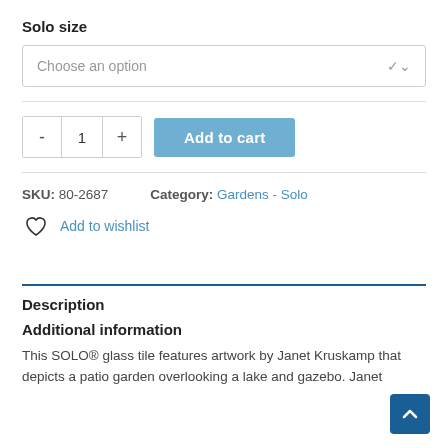Solo size
[Figure (screenshot): Dropdown selector with text 'Choose an option' and a chevron arrow on the right, inside a bordered box]
[Figure (screenshot): Quantity selector with minus button, '1', plus button, and a blue 'Add to cart' button]
SKU: 80-2687    Category: Gardens - Solo
Add to wishlist (with heart icon)
Description
Additional information
This SOLO® glass tile features artwork by Janet Kruskamp that depicts a patio garden overlooking a lake and gazebo. Janet